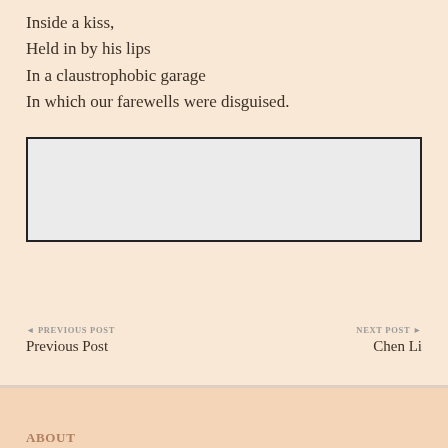Inside a kiss,
Held in by his lips
In a claustrophobic garage
In which our farewells were disguised.
[Figure (other): Empty light grey rectangle with black border — comment input box]
◄ PREVIOUS POST
Previous Post
NEXT POST ►
Chen Li
ABOUT